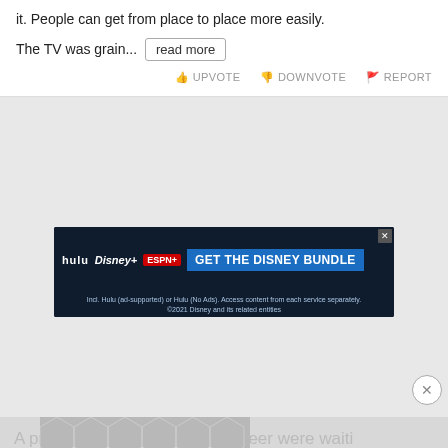it. People can get from place to place more easily.
The TV was grain... read more
UPVOTE  DOWNVOTE  REPORT
[Figure (screenshot): Disney Bundle advertisement banner with Hulu, Disney+, ESPN+ logos and blue CTA button 'GET THE DISNEY BUNDLE'. Fine print: Incl. Hulu (ad-supported) or Hulu (No Ads). Access content from each service separately. ©2021 Disney and its related entities]
A priest, a doctor, and an engineer were waiting to follow group of golfers.